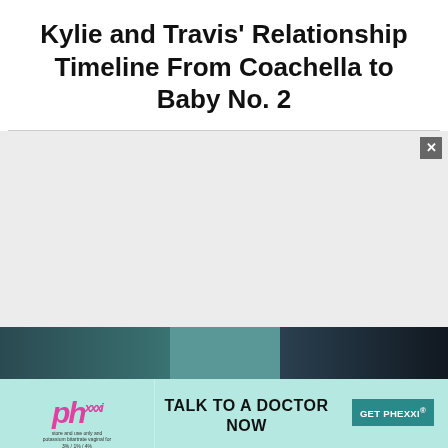Kylie and Travis' Relationship Timeline From Coachella to Baby No. 2
[Figure (photo): Partial photo strip visible at bottom of content area showing dark teal/toned image, partially obscured by advertisement banner overlay]
[Figure (screenshot): Advertisement banner for Phexxi contraceptive. Shows Phexxi logo in pink italic, 'TALK TO A DOCTOR NOW' in bold black text, and 'GET PHEXXI' teal button. Footnote text: 'Phexxi is a registered trademark of Evofem Biosciences, Inc. © 2021 Evofem Biosciences, Inc. EV-FM-US-001110 February 2021 See Full Prescribing Information'. Close X button visible top right.]